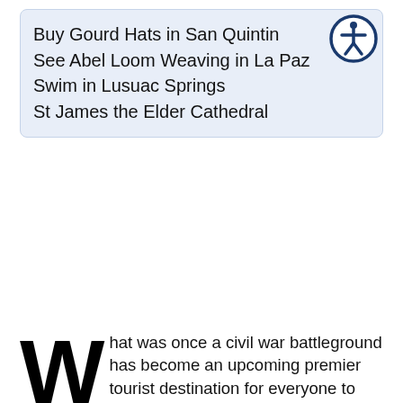Buy Gourd Hats in San Quintin
See Abel Loom Weaving in La Paz
Swim in Lusuac Springs
St James the Elder Cathedral
[Figure (illustration): Accessibility icon: person figure in a circle with dark blue border]
What was once a civil war battleground has become an upcoming premier tourist destination for everyone to discover. Abra is an excellent combination of history and mother nature. The province's wonders can be seen through the body of water, caves, and museums.
How to Get There
There are plenty of routes you can take on the way to Abra Province. Some of the roads you can take